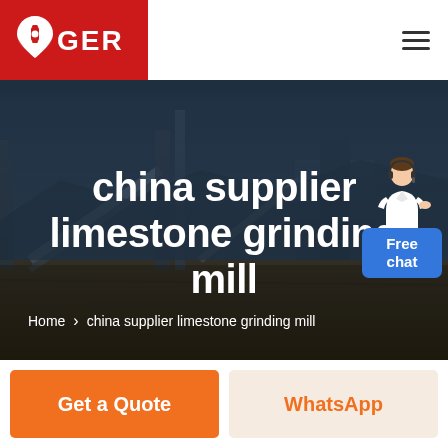GER
[Figure (screenshot): Industrial mining/grinding facility at dusk with conveyor belts and machinery, dark blue sky background]
china supplier limestone grinding mill
Home > china supplier limestone grinding mill
[Figure (illustration): Customer service representative avatar with Free chat button in blue]
Get a Quote
WhatsApp